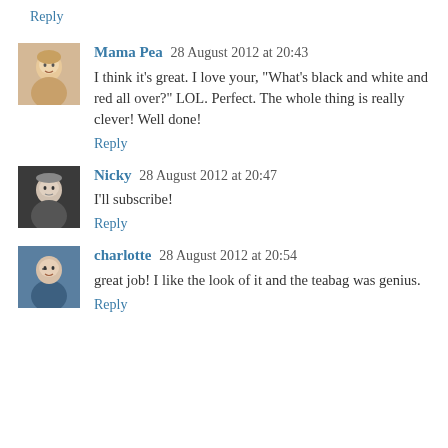Reply
Mama Pea  28 August 2012 at 20:43
I think it's great. I love your, "What's black and white and red all over?" LOL. Perfect. The whole thing is really clever! Well done!
Reply
Nicky  28 August 2012 at 20:47
I'll subscribe!
Reply
charlotte  28 August 2012 at 20:54
great job! I like the look of it and the teabag was genius.
Reply